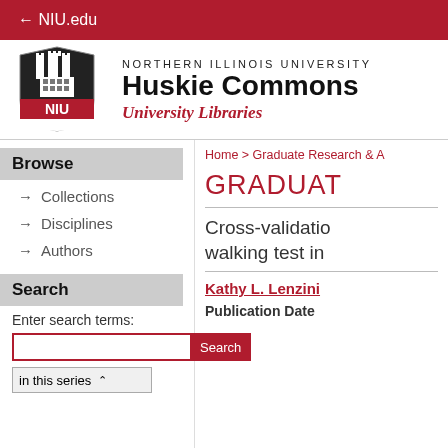← NIU.edu
[Figure (logo): NIU shield logo with castle tower and red NIU text]
NORTHERN ILLINOIS UNIVERSITY Huskie Commons University Libraries
Home > Graduate Research & A
Browse
→ Collections
→ Disciplines
→ Authors
Search
Enter search terms:
in this series
GRADUAT
Cross-validatio walking test in
Kathy L. Lenzini
Publication Date